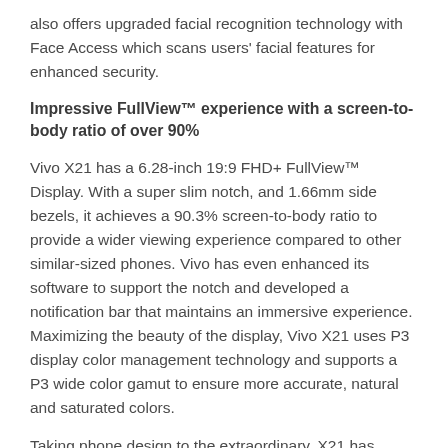also offers upgraded facial recognition technology with Face Access which scans users' facial features for enhanced security.
Impressive FullView™ experience with a screen-to-body ratio of over 90%
Vivo X21 has a 6.28-inch 19:9 FHD+ FullView™ Display. With a super slim notch, and 1.66mm side bezels, it achieves a 90.3% screen-to-body ratio to provide a wider viewing experience compared to other similar-sized phones. Vivo has even enhanced its software to support the notch and developed a notification bar that maintains an immersive experience. Maximizing the beauty of the display, Vivo X21 uses P3 display color management technology and supports a P3 wide color gamut to ensure more accurate, natural and saturated colors.
Taking phone design to the extraordinary, X21 has ditched the metal body for a new 3D glass back cover. Every arc and curve on the back cover are ergonomically optimized to ensure comfort in your hand, with only 3.1mm thick in the